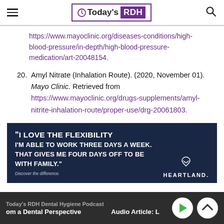Today's RDH
https://www.mayoclinic.org/diseases-conditions/high-blood-pressure/in-depth/high-blood-pressure-medication/art-20048154.
20. Amyl Nitrate (Inhalation Route). (2020, November 01). Mayo Clinic. Retrieved from https://www.mayoclinic.org/drugs-supplements/amyl-nitrite-inhalation-route/proper-use/drg-20061803.
[Figure (infographic): Heartland Dental advertisement with dark navy background. Text reads: "I LOVE THE FLEXIBILITY I'M ABLE TO WORK THREE DAYS A WEEK. THAT GIVES ME FOUR DAYS OFF TO BE WITH FAMILY." Discover the difference. Heartland logo.]
Today's RDH Dental Hygiene Podcast | om a Dental Perspective | Audio Article: L